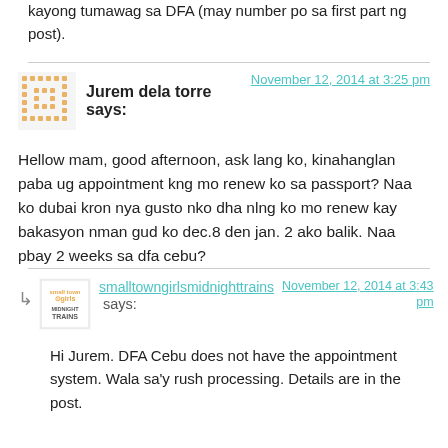kayong tumawag sa DFA (may number po sa first part ng post).
Jurem dela torre says: November 12, 2014 at 3:25 pm
Hellow mam, good afternoon, ask lang ko, kinahanglan paba ug appointment kng mo renew ko sa passport? Naa ko dubai kron nya gusto nko dha nlng ko mo renew kay bakasyon nman gud ko dec.8 den jan. 2 ako balik. Naa pbay 2 weeks sa dfa cebu?
smalltowngirlsmidnighttrains says: November 12, 2014 at 3:43 pm
Hi Jurem. DFA Cebu does not have the appointment system. Wala sa'y rush processing. Details are in the post.